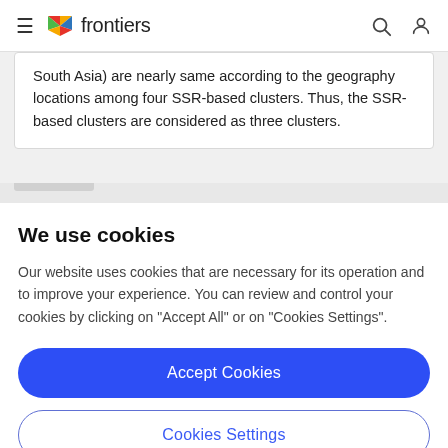frontiers
South Asia) are nearly same according to the geography locations among four SSR-based clusters. Thus, the SSR-based clusters are considered as three clusters.
We use cookies
Our website uses cookies that are necessary for its operation and to improve your experience. You can review and control your cookies by clicking on "Accept All" or on "Cookies Settings".
Accept Cookies
Cookies Settings